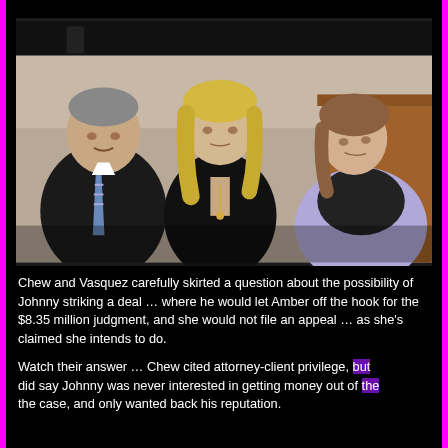[Figure (photo): Courtroom photo showing three people seated: a man in a dark suit with striped tie on the left, a blonde woman in black in the center, and an older woman in a light purple blazer on the right. Dark background with wooden courtroom furnishings visible.]
Chew and Vasquez carefully skirted a question about the possibility of Johnny striking a deal … where he would let Amber off the hook for the $8.35 million judgment, and she would not file an appeal … as she's claimed she intends to do.
Watch their answer … Chew cited attorney-client privilege, but did say Johnny was never interested in getting money out of the case, and only wanted back his reputation.